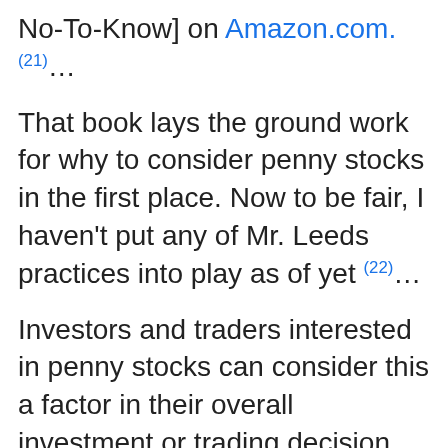No-To-Know] on Amazon.com.(21)…
That book lays the ground work for why to consider penny stocks in the first place. Now to be fair, I haven't put any of Mr. Leeds practices into play as of yet (22)…
Investors and traders interested in penny stocks can consider this a factor in their overall investment or trading decision.(23)…
8. How to Buy Penny Stocks: The Risks and Rewards – TheStreet